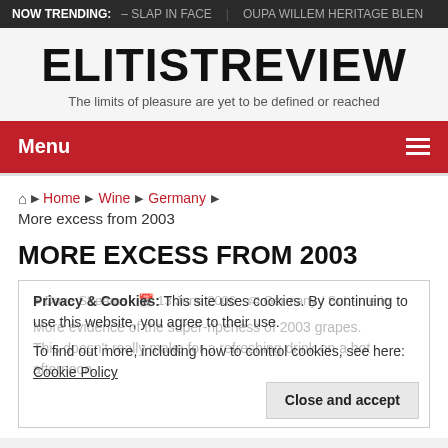NOW TRENDING: – SLAP IN FACE | OUPA WILLEM HERITAGE BLEN
ELITISTREVIEW
The limits of pleasure are yet to be defined or reached
Menu
Home › Wine › Germany › More excess from 2003
MORE EXCESS FROM 2003
Privacy & Cookies: This site uses cookies. By continuing to use this website, you agree to their use. To find out more, including how to control cookies, see here: Cookie Policy
More evidence of the super-ripeness of 2003 grapes. This doesn't really make for a refreshing drink on a hot afternoon.